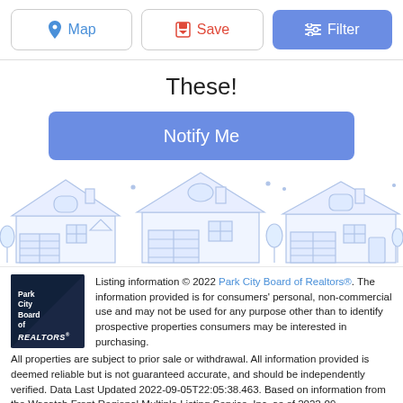[Figure (screenshot): Top toolbar with Map, Save, and Filter buttons]
These!
[Figure (other): Notify Me button]
[Figure (illustration): Line art illustration of suburban houses in light blue]
Listing information © 2022 Park City Board of Realtors®. The information provided is for consumers' personal, non-commercial use and may not be used for any purpose other than to identify prospective properties consumers may be interested in purchasing. All properties are subject to prior sale or withdrawal. All information provided is deemed reliable but is not guaranteed accurate, and should be independently verified. Data Last Updated 2022-09-05T22:05:38.463. Based on information from the Wasatch Front Regional Multiple Listing Service, Inc. as of 2022-09-05T21:38:46.14. All data, including all measurements and calculations of area, is obtained from various sources and has not